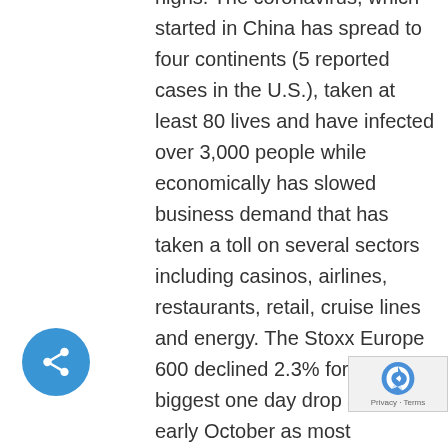highs. The coronavirus, which started in China has spread to four continents (5 reported cases in the U.S.), taken at least 80 lives and have infected over 3,000 people while economically has slowed business demand that has taken a toll on several sectors including casinos, airlines, restaurants, retail, cruise lines and energy. The Stoxx Europe 600 declined 2.3% for its biggest one day drop since early October as most European major markets ended near their lows of the session. The CBOE Volatility index (VIX) jumped to morning highs of 19 before paring gains (52-week high at 24.81 back in August), as investors hedge. The attention today was firmly on the virus fear impact though quarterly earnings see the biggest wee results with 145 members of the S&P expecte report results. Interest rate sensitive names (and